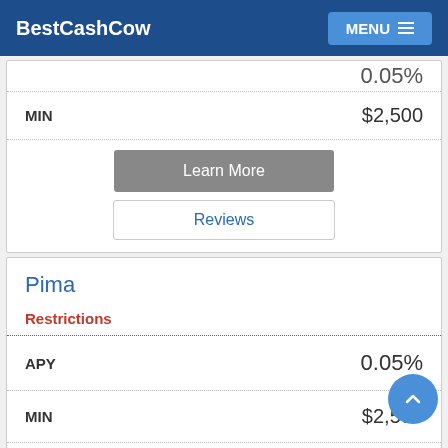BestCashCow  MENU
0.05%
MIN  $2,500
Learn More
Reviews
Pima
Restrictions
APY  0.05%
MIN  $2,500
Learn More